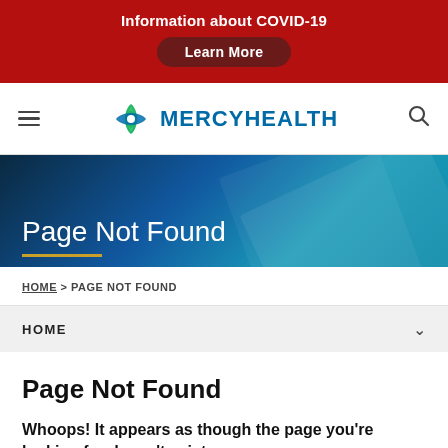Information about COVID-19
Learn More
[Figure (logo): MercyHealth logo with green cross icon and teal MERCYHEALTH text]
Page Not Found
HOME > PAGE NOT FOUND
HOME
Page Not Found
Whoops! It appears as though the page you're looking for doesn't exist.